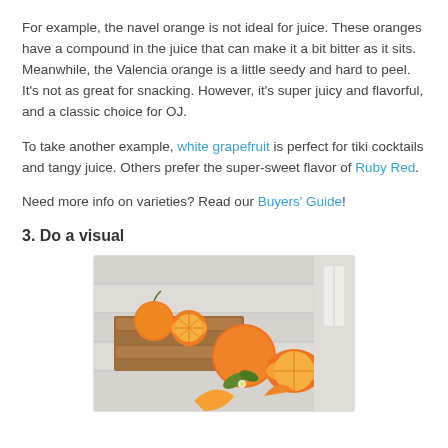For example, the navel orange is not ideal for juice. These oranges have a compound in the juice that can make it a bit bitter as it sits. Meanwhile, the Valencia orange is a little seedy and hard to peel. It's not as great for snacking. However, it's super juicy and flavorful, and a classic choice for OJ.
To take another example, white grapefruit is perfect for tiki cocktails and tangy juice. Others prefer the super-sweet flavor of Ruby Red.
Need more info on varieties? Read our Buyers' Guide!
3. Do a visual
[Figure (photo): Photo of oranges — whole, halved, and sliced oranges arranged on a wooden surface with a white background.]